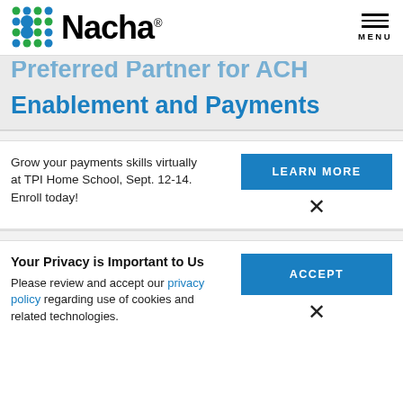[Figure (logo): Nacha logo with colorful dots grid and bold Nacha wordmark]
Preferred Partner for ACH Enablement and Payments
Grow your payments skills virtually at TPI Home School, Sept. 12-14. Enroll today!
LEARN MORE
×
Your Privacy is Important to Us
Please review and accept our privacy policy regarding use of cookies and related technologies.
ACCEPT
×